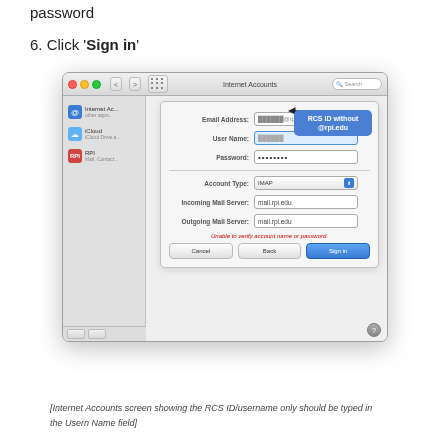password
6. Click 'Sign in'
[Figure (screenshot): Mac OS X Internet Accounts window showing an email account setup dialog with fields for Email Address (showing a redacted @rpi.edu address), User Name (highlighted in blue with a callout annotation reading 'RCS ID without @rpi.edu'), Password (dots), Account Type (IMAP), Incoming Mail Server (mail.rpi.edu), Outgoing Mail Server (mail.rpi.edu), an error message 'Unable to verify account name or password.', and buttons Cancel, Back, and Sign in. The sidebar shows Internet Accounts, iCloud, and RPI entries.]
[Internet Accounts screen showing the RCS ID/username only should be typed in the Usern Name field]